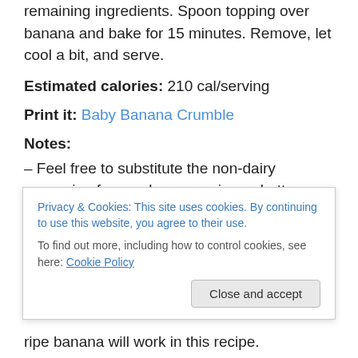remaining ingredients. Spoon topping over banana and bake for 15 minutes.  Remove, let cool a bit, and serve.
Estimated calories:  210 cal/serving
Print it: Baby Banana Crumble
Notes:
– Feel free to substitute the non-dairy margarine for regular margarine or butter.
– I used frozen and thawed bananas in this recipe.  If you haven't frozen super ripe bananas before, I'd highly recommend it.  They thaw quickly, and after snipping off
Privacy & Cookies: This site uses cookies. By continuing to use this website, you agree to their use.
To find out more, including how to control cookies, see here: Cookie Policy
ripe banana will work in this recipe.